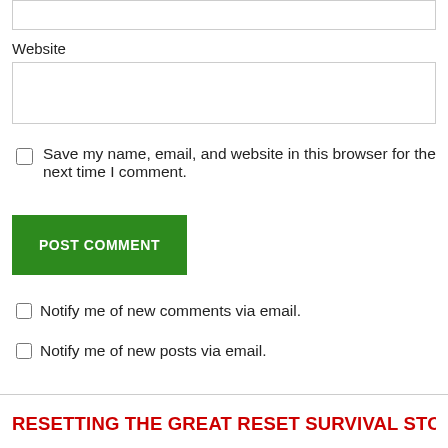Website
Save my name, email, and website in this browser for the next time I comment.
POST COMMENT
Notify me of new comments via email.
Notify me of new posts via email.
RESETTING THE GREAT RESET SURVIVAL STORE